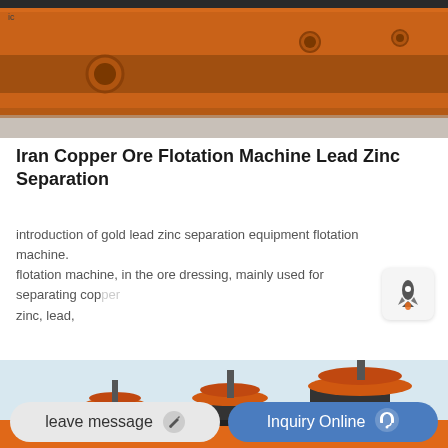[Figure (photo): Close-up photo of orange industrial flotation machine showing side panels with circular holes/ports]
Iran Copper Ore Flotation Machine Lead Zinc Separation
introduction of gold lead zinc separation equipment flotation machine. flotation machine, in the ore dressing, mainly used for separating copper, zinc, lead,
[Figure (photo): Photo of orange flotation machines with large disc impellers arranged in a row, industrial mining equipment]
leave message   Inquiry Online